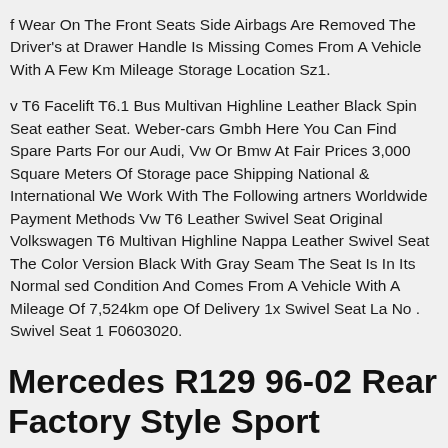f Wear On The Front Seats Side Airbags Are Removed The Driver's at Drawer Handle Is Missing Comes From A Vehicle With A Few Km Mileage Storage Location Sz1.
v T6 Facelift T6.1 Bus Multivan Highline Leather Black Spin Seat eather Seat. Weber-cars Gmbh Here You Can Find Spare Parts For our Audi, Vw Or Bmw At Fair Prices 3,000 Square Meters Of Storage pace Shipping National & International We Work With The Following artners Worldwide Payment Methods Vw T6 Leather Swivel Seat Original Volkswagen T6 Multivan Highline Nappa Leather Swivel Seat The Color Version Black With Gray Seam The Seat Is In Its Normal sed Condition And Comes From A Vehicle With A Mileage Of 7,524km ope Of Delivery 1x Swivel Seat La No . Swivel Seat 1 F0603020.
Mercedes R129 96-02 Rear Factory Style Sport Leather Folding Jump Sea Beige Tan
Mercedes R129 96-02 Rear Factory Style Sport Leather Folding Jump Seat...